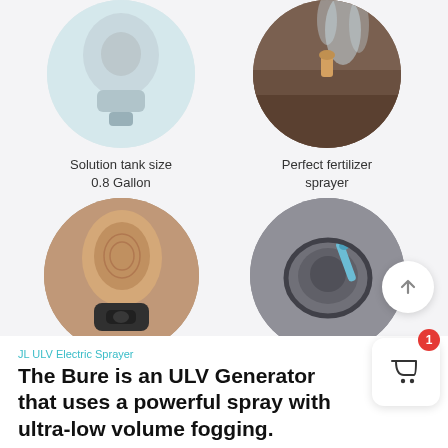[Figure (photo): Circular photo showing a gray solution tank/sprayer device, partial crop at top]
Solution tank size
0.8 Gallon
[Figure (photo): Circular photo showing a person spraying fertilizer on soil/plants, partial crop at top]
Perfect fertilizer
sprayer
[Figure (photo): Circular photo showing a thumb pressing an intensity control button on the sprayer]
Intensity
control
[Figure (photo): Circular photo showing the cap and injection hose of the sprayer device]
Cap & Injection Hose
JL ULV Electric Sprayer
The Bure is an ULV Generator that uses a powerful spray with ultra-low volume fogging.
This advanced machine provides highly efficient and the...